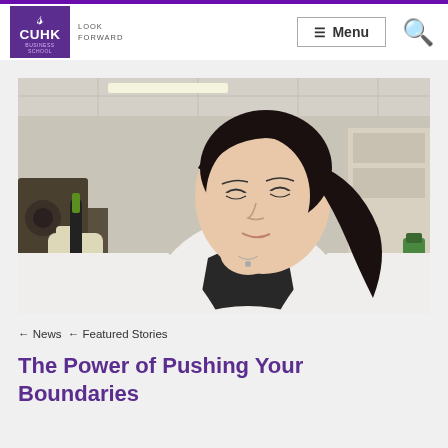CUHK Business School — Look Forward | Menu
[Figure (photo): A young Asian woman in a white lab coat and black top, wearing gloves, using a pipette in a laboratory setting. She has long dark hair in a ponytail and is looking down at her work.]
← News ← Featured Stories
The Power of Pushing Your Boundaries